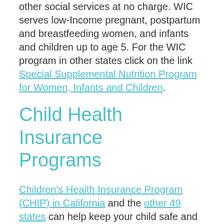other social services at no charge. WIC serves low-Income pregnant, postpartum and breastfeeding women, and infants and children up to age 5. For the WIC program in other states click on the link Special Supplemental Nutrition Program for Women, Infants and Children.
Child Health Insurance Programs
Children's Health Insurance Program (CHIP) in California and the other 49 states can help keep your child safe and